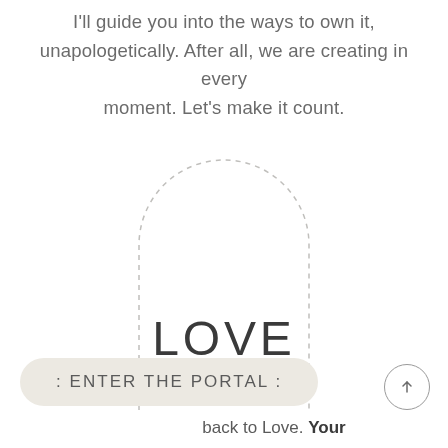I'll guide you into the ways to own it, unapologetically. After all, we are creating in every moment. Let's make it count.
[Figure (illustration): A dashed-outline arch shape (arch/portal graphic) drawn with a dotted border, oriented as a tall arch — flat at bottom, curved at top. Light gray dotted stroke on white background.]
LOVE
: ENTER THE PORTAL :
back to Love. Your